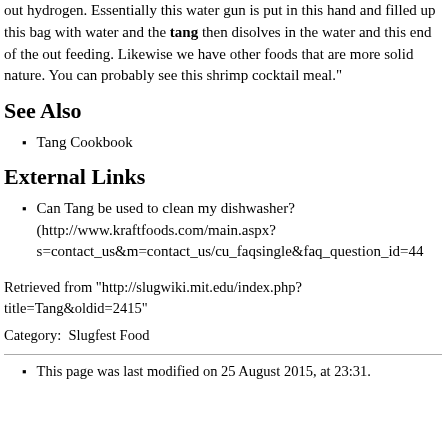out hydrogen. Essentially this water gun is put in this hand and filled up this bag with water and the tang then disolves in the water and this end of the out feeding. Likewise we have other foods that are more solid nature. You can probably see this shrimp cocktail meal."
See Also
Tang Cookbook
External Links
Can Tang be used to clean my dishwasher? (http://www.kraftfoods.com/main.aspx?s=contact_us&m=contact_us/cu_faqsingle&faq_question_id=44
Retrieved from "http://slugwiki.mit.edu/index.php?title=Tang&oldid=2415"
Category:  Slugfest Food
This page was last modified on 25 August 2015, at 23:31.